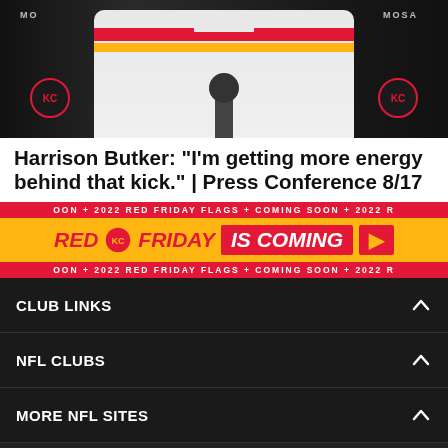[Figure (photo): Kansas City Chiefs player Harrison Butker in white uniform with red and yellow stripes, at a press conference with a microphone, MOSAIC sponsor banners visible in the background]
Harrison Butker: "I'm getting more energy behind that kick." | Press Conference 8/17
[Figure (infographic): Red Friday IS COMING promotional banner in Kansas City Chiefs colors (red, yellow, white) with Chiefs logo and ticker text: 2022 RED FRIDAY FLAGS + COMING SOON]
CLUB LINKS
NFL CLUBS
MORE NFL SITES
DOWNLOAD APPS
[Figure (screenshot): Download on the App Store button]
[Figure (screenshot): GET IT ON Google Play button]
[Figure (infographic): Social media share icons: Facebook, Twitter, Email, Link]